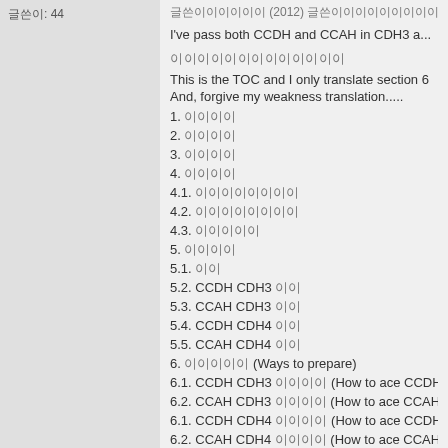글쓴이: 44
글쓴이이이이이이 (2012) 글쓴이이이이이이이이 CDH3 이이이 Cloudera C...
I've pass both CCDH and CCAH in CDH3 a...
이이이이이이이이이이이이이
This is the TOC and I only translate section 6
And, forgive my weakness translation.....
1. 이이이이
2. 이이이이
3. 이이이이
4. 이이이이
4.1. 이이이이이이이이
4.2. 이이이이이이이이
4.3. 이이이이이
5. 이이이이
5.1. 이이
5.2. CCDH CDH3 이이
5.3. CCAH CDH3 이이
5.4. CCDH CDH4 이이
5.5. CCAH CDH4 이이
6. 이이이이이 (Ways to prepare)
6.1. CCDH CDH3 이이이이 (How to ace CCDH CD...
6.2. CCAH CDH3 이이이이 (How to ace CCAH CD...
6.1. CCDH CDH4 이이이이 (How to ace CCDH CD...
6.2. CCAH CDH4 이이이이 (How to ace CCAH CD...
7. 이이